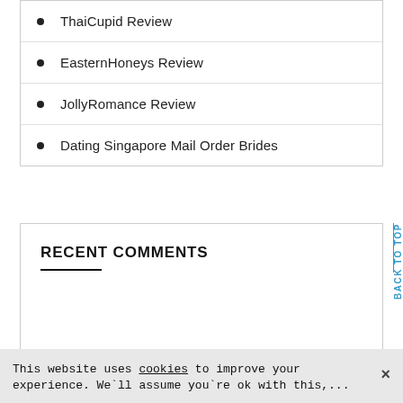ThaiCupid Review
EasternHoneys Review
JollyRomance Review
Dating Singapore Mail Order Brides
RECENT COMMENTS
BACK TO TOP
This website uses cookies to improve your experience. We`ll assume you`re ok with this,...